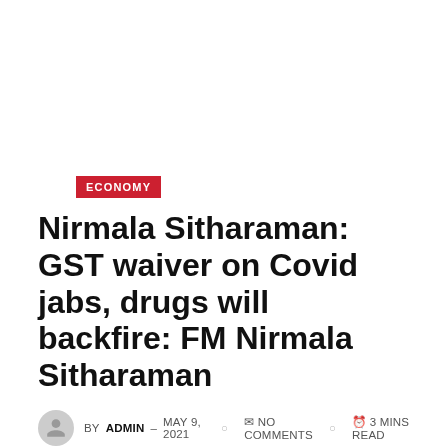ECONOMY
Nirmala Sitharaman: GST waiver on Covid jabs, drugs will backfire: FM Nirmala Sitharaman
BY ADMIN – MAY 9, 2021  NO COMMENTS  3 MINS READ
[Figure (infographic): Social share buttons: Facebook, Twitter, Pinterest, and a share icon button]
[Figure (logo): Partial red logo letters visible at bottom of page]